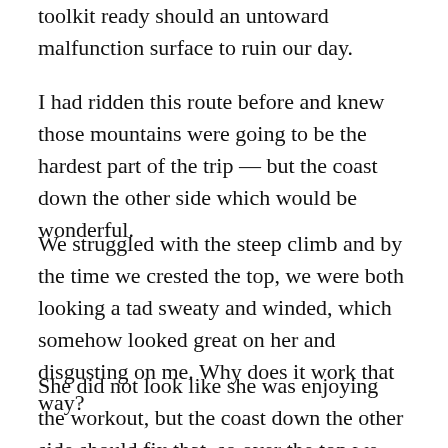toolkit ready should an untoward malfunction surface to ruin our day.
I had ridden this route before and knew those mountains were going to be the hardest part of the trip — but the coast down the other side which would be wonderful.
We struggled with the steep climb and by the time we crested the top, we were both looking a tad sweaty and winded, which somehow looked great on her and disgusting on me. Why does it work that way?
She did not look like she was enjoying the workout, but the coast down the other side should fix that, so over the top we went. As we picked up speed, I glanced back and was surprised when I did not see the look of shear joy, but something that